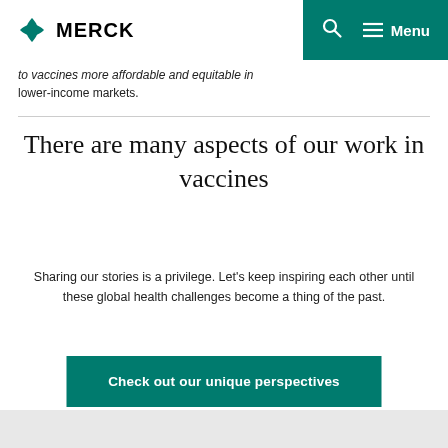MERCK
to vaccines more affordable and equitable in lower-income markets.
There are many aspects of our work in vaccines
Sharing our stories is a privilege. Let's keep inspiring each other until these global health challenges become a thing of the past.
Check out our unique perspectives